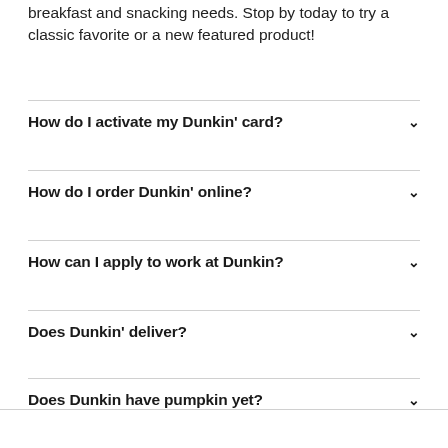breakfast and snacking needs. Stop by today to try a classic favorite or a new featured product!
How do I activate my Dunkin' card?
How do I order Dunkin' online?
How can I apply to work at Dunkin?
Does Dunkin' deliver?
Does Dunkin have pumpkin yet?